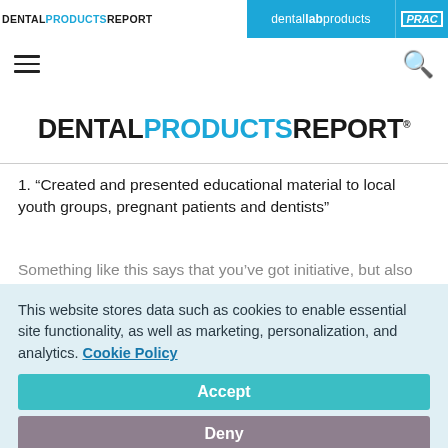DENTAL PRODUCTS REPORT | dental lab products | PRAC
[Figure (logo): Dental Products Report logo in top navigation bar with blue highlighted sister publications]
[Figure (logo): DENTAL PRODUCTS REPORT main page logo in large bold text with blue PRODUCTS]
1. “Created and presented educational material to local youth groups, pregnant patients and dentists”
Something like this says that you’ve got initiative, but also
This website stores data such as cookies to enable essential site functionality, as well as marketing, personalization, and analytics. Cookie Policy
Accept
Deny